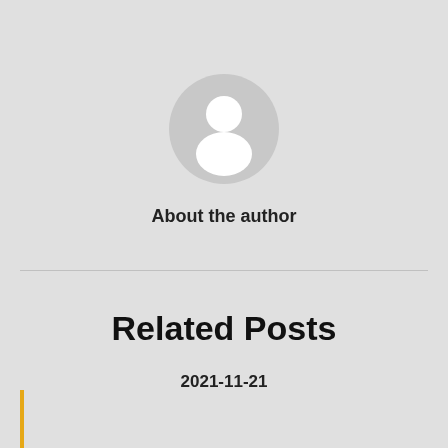[Figure (illustration): Default user avatar icon: a gray circle containing a white silhouette of a person (head and shoulders)]
About the author
Related Posts
2021-11-21
November 21, 2021